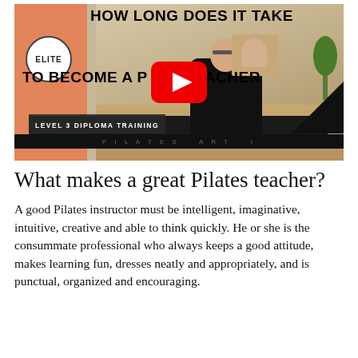[Figure (screenshot): YouTube video thumbnail showing a Pilates instructor seated on a reformer in a studio. Text overlay reads 'HOW LONG DOES IT TAKE TO BECOME A PILATES TEACHER' with 'ELITE' badge. Red YouTube play button in center. Bottom banner reads 'LEVEL 3 DIPLOMA TRAINING'.]
What makes a great Pilates teacher?
A good Pilates instructor must be intelligent, imaginative, intuitive, creative and able to think quickly. He or she is the consummate professional who always keeps a good attitude, makes learning fun, dresses neatly and appropriately, and is punctual, organized and encouraging.